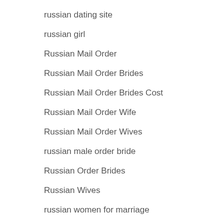russian dating
russian dating site
russian girl
Russian Mail Order
Russian Mail Order Brides
Russian Mail Order Brides Cost
Russian Mail Order Wife
Russian Mail Order Wives
russian male order bride
Russian Order Brides
Russian Wives
russian women for marriage
Russianbrides Com Sign In
rutelevideo.ru
safe online payday loans
safe payday loans